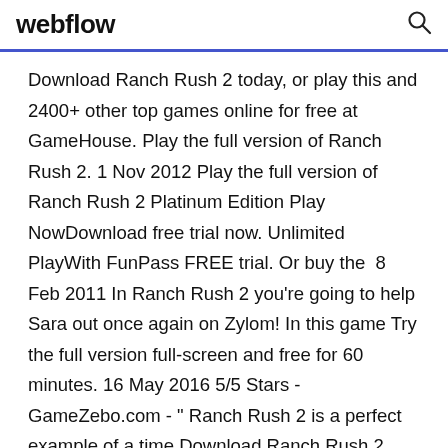webflow
Download Ranch Rush 2 today, or play this and 2400+ other top games online for free at GameHouse. Play the full version of Ranch Rush 2. 1 Nov 2012 Play the full version of Ranch Rush 2 Platinum Edition Play NowDownload free trial now. Unlimited PlayWith FunPass FREE trial. Or buy the  8 Feb 2011 In Ranch Rush 2 you're going to help Sara out once again on Zylom! In this game Try the full version full-screen and free for 60 minutes. 16 May 2016 5/5 Stars - GameZebo.com - " Ranch Rush 2 is a perfect example of a time Download Ranch Rush 2 1.14 and all version history for Android.
Don't pass by Ranch Rush 2 Collector's Edition